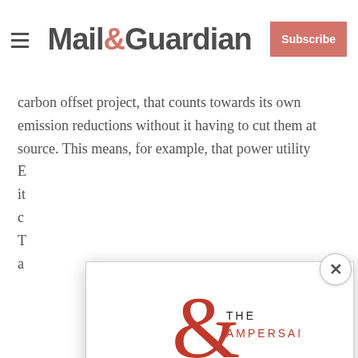Mail&Guardian | Subscribe
carbon offset project, that counts towards its own emission reductions without it having to cut them at source. This means, for example, that power utility E...
[Figure (logo): The Ampersand newsletter logo — large red ampersand with 'THE' and 'AMPERSAND' text]
Stay informed. Every weekday.
E-mail Address
Signup now